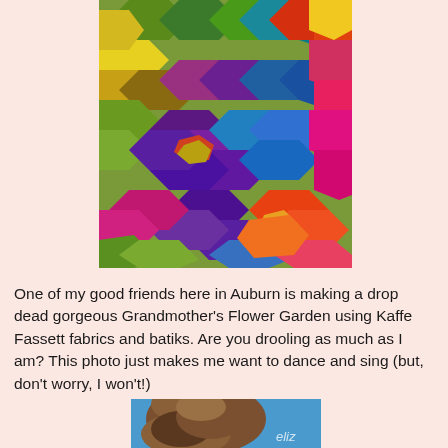[Figure (photo): Colorful hexagon quilt patches arranged in a Grandmother's Flower Garden pattern using Kaffe Fassett fabrics and batiks. Vibrant colors including greens, yellows, reds, oranges, pinks, purples, and blues.]
One of my good friends here in Auburn is making a drop dead gorgeous Grandmother's Flower Garden using Kaffe Fassett fabrics and batiks. Are you drooling as much as I am? This photo just makes me want to dance and sing (but, don't worry, I won't!)
[Figure (photo): Partial photo of a brown/chocolate Labrador dog against a blue background, with the text 'eliz' visible in the corner.]